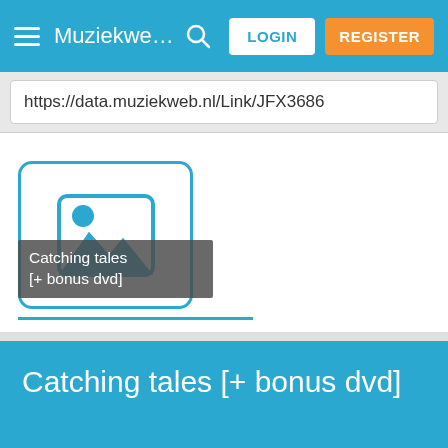MuziekwebOr...  LOGIN  REGISTER
https://data.muziekweb.nl/Link/JFX3686
[Figure (illustration): Album art placeholder icon (image thumbnail icon with mountains and sun in blue outline style) with a dark semi-transparent label overlay reading 'Catching tales [+ bonus dvd]']
Catching tales [+ bonus dvd]